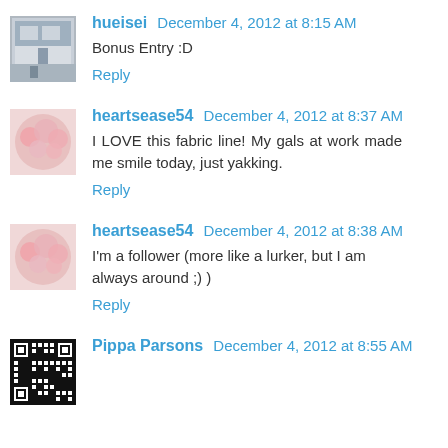hueisei  December 4, 2012 at 8:15 AM
Bonus Entry :D
Reply
heartsease54  December 4, 2012 at 8:37 AM
I LOVE this fabric line! My gals at work made me smile today, just yakking.
Reply
heartsease54  December 4, 2012 at 8:38 AM
I'm a follower (more like a lurker, but I am always around ;) )
Reply
Pippa Parsons  December 4, 2012 at 8:55 AM